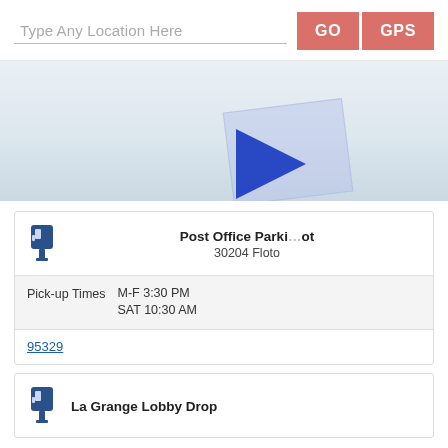Type Any Location Here
[Figure (screenshot): Map area showing a light blue-gray map with a popup arrow marker overlay]
Post Office Parking Lot
30204 Floto
Pick-up Times   M-F 3:30 PM
                SAT 10:30 AM
95329
La Grange Lobby Drop